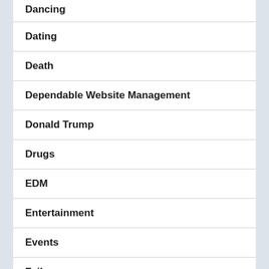Dancing
Dating
Death
Dependable Website Management
Donald Trump
Drugs
EDM
Entertainment
Events
Fails